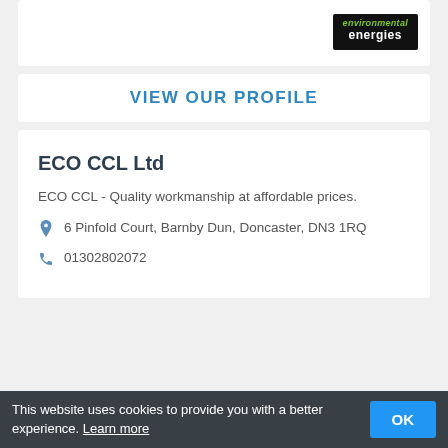[Figure (logo): Environmental energies logo — dark background with green italic 'environmental' text and white bold 'energies' text]
VIEW OUR PROFILE
ECO CCL Ltd
ECO CCL - Quality workmanship at affordable prices.
6 Pinfold Court, Barnby Dun, Doncaster, DN3 1RQ
01302802072
This website uses cookies to provide you with a better experience. Learn more